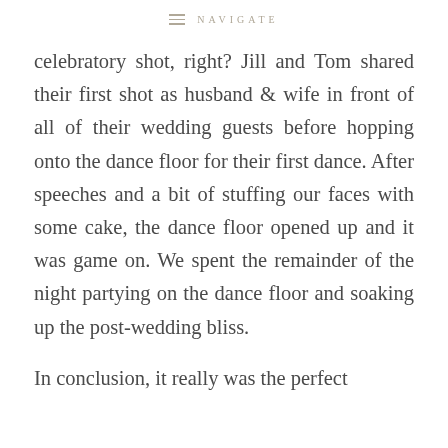≡ NAVIGATE
celebratory shot, right? Jill and Tom shared their first shot as husband & wife in front of all of their wedding guests before hopping onto the dance floor for their first dance. After speeches and a bit of stuffing our faces with some cake, the dance floor opened up and it was game on. We spent the remainder of the night partying on the dance floor and soaking up the post-wedding bliss.
In conclusion, it really was the perfect